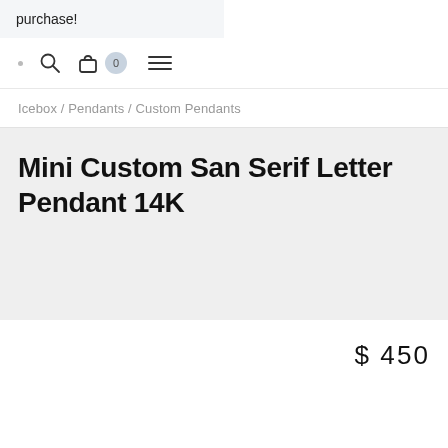purchase!
[Figure (screenshot): Navigation bar with search icon, shopping bag icon with cart count badge showing 0, and hamburger menu icon]
Icebox / Pendants / Custom Pendants
Mini Custom San Serif Letter Pendant 14K
$ 450